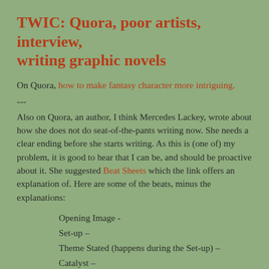TWIC: Quora, poor artists, interview, writing graphic novels
On Quora, how to make fantasy character more intriguing.
---
Also on Quora, an author, I think Mercedes Lackey, wrote about how she does not do seat-of-the-pants writing now. She needs a clear ending before she starts writing. As this is (one of) my problem, it is good to hear that I can be, and should be proactive about it. She suggested Beat Sheets which the link offers an explanation of. Here are some of the beats, minus the explanations:
Opening Image -
Set-up –
Theme Stated (happens during the Set-up) –
Catalyst –
Debate –
Break Into Two (Choosing Act Two) –